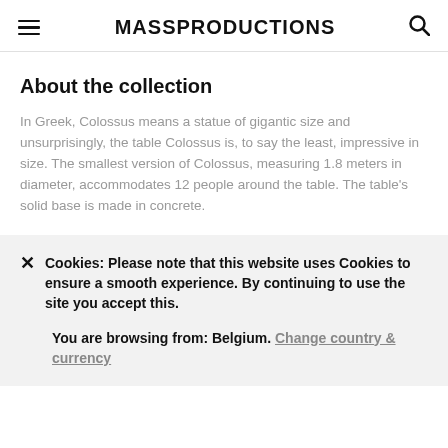MASSPRODUCTIONS
About the collection
In Greek, Colossus means a statue of gigantic size and unsurprisingly, the table Colossus is, to say the least, impressive in size. The smallest version of Colossus, measuring 1.8 meters in diameter, accommodates 12 people around the table. The table’s solid base is made in concrete.
Cookies: Please note that this website uses Cookies to ensure a smooth experience. By continuing to use the site you accept this.
You are browsing from: Belgium. Change country & currency